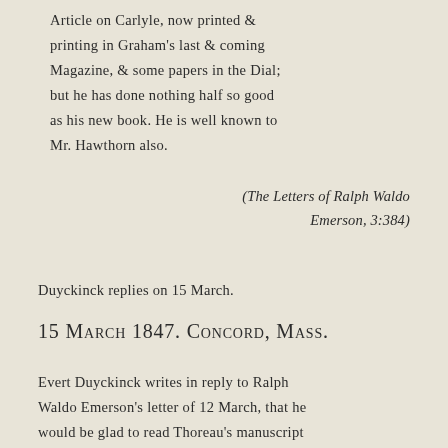Article on Carlyle, now printed & printing in Graham's last & coming Magazine, & some papers in the Dial; but he has done nothing half so good as his new book. He is well known to Mr. Hawthorn also.
(The Letters of Ralph Waldo Emerson, 3:384)
Duyckinck replies on 15 March.
15 March 1847. Concord, Mass.
Evert Duyckinck writes in reply to Ralph Waldo Emerson's letter of 12 March, that he would be glad to read Thoreau's manuscript